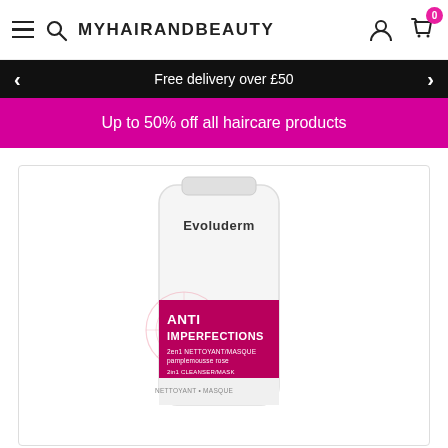MYHAIRANDBEAUTY
Free delivery over £50
Up to 50% off all haircare products
[Figure (photo): Evoluderm Anti Imperfections 2-in-1 Nettoyant/Masque Pamplemousse Rose (Pink Grapefruit) cleansing mask product tube, white with pink/magenta label]